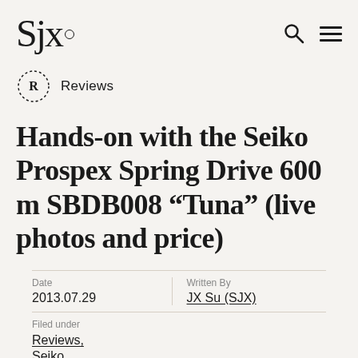SJX.
Reviews
Hands-on with the Seiko Prospex Spring Drive 600 m SBDB008 "Tuna" (live photos and price)
Date: 2013.07.29
Written By: JX Su (SJX)
Filed under: Reviews, Seiko
[Figure (photo): Partial photo of a watch with WatchesbySJX.com watermark]